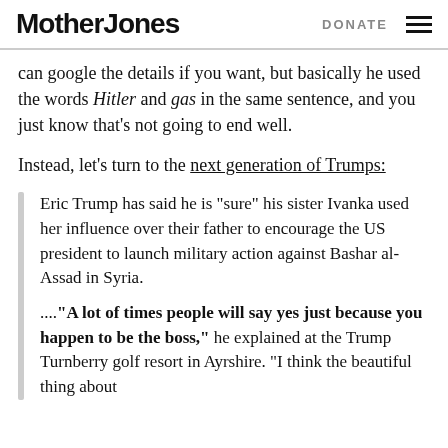Mother Jones | DONATE
can google the details if you want, but basically he used the words Hitler and gas in the same sentence, and you just know that’s not going to end well.
Instead, let’s turn to the next generation of Trumps:
Eric Trump has said he is “sure” his sister Ivanka used her influence over their father to encourage the US president to launch military action against Bashar al-Assad in Syria.

....“A lot of times people will say yes just because you happen to be the boss,” he explained at the Trump Turnberry golf resort in Ayrshire. “I think the beautiful thing about